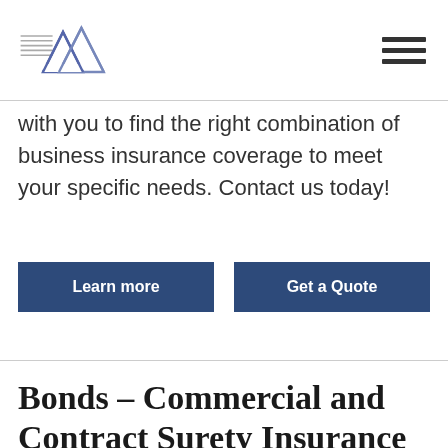[Figure (logo): Company logo with stylized house/mountain peaks icon in blue/purple and horizontal lines]
with you to find the right combination of business insurance coverage to meet your specific needs. Contact us today!
Learn more
Get a Quote
Bonds – Commercial and Contract Surety Insurance